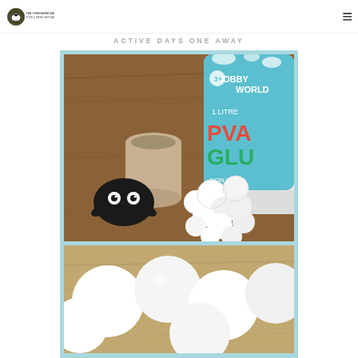The Yorkshire Dales Food & Drink Festival
ACTIVE DAYS ONE AWAY
[Figure (photo): Craft supplies on a wooden table: a cardboard tube, a black felt sheep head cutout with googly eyes, cotton balls/marshmallows, and a bottle of Hobby World 1 Litre PVA Glue Non Toxic]
[Figure (photo): Close-up of white cotton balls or marshmallows on a wooden surface]